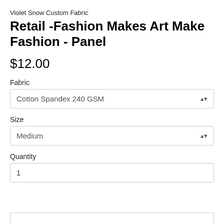Violet Snow Custom Fabric
Retail -Fashion Makes Art Make Fashion - Panel
$12.00
Fabric
Cotton Spandex 240 GSM
Size
Medium
Quantity
1